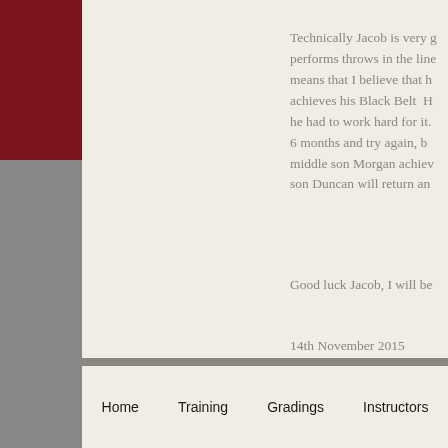Technically Jacob is very g performs throws in the line means that I believe that h achieves his Black Belt H he had to work hard for it. 6 months and try again, b middle son Morgan achiev son Duncan will return an
Good luck Jacob, I will be
14th November 2015
The papers picked up the
Home   Training   Gradings   Instructors